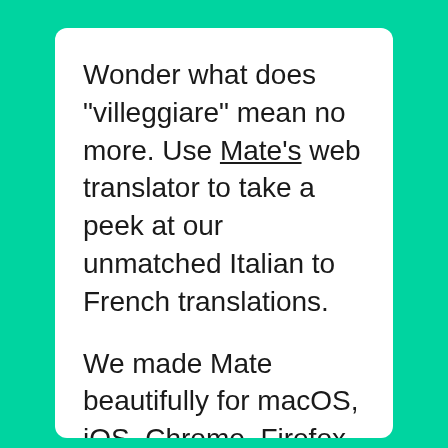Wonder what does "villeggiare" mean no more. Use Mate's web translator to take a peek at our unmatched Italian to French translations.
We made Mate beautifully for macOS, iOS, Chrome, Firefox, Opera, and Edge, so you can translate anywhere there's text. No more app, browser tab switching, or copy-pasting.
The most advanced machine translation power right where you need it. Effortlessly translate